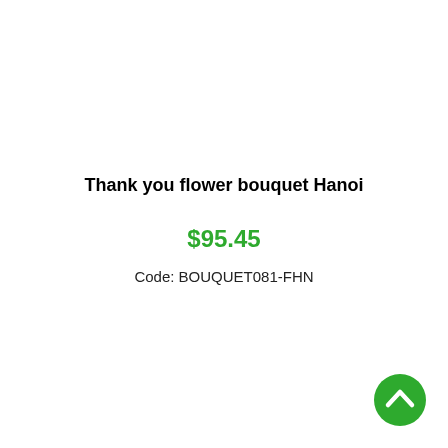Thank you flower bouquet Hanoi
$95.45
Code: BOUQUET081-FHN
[Figure (other): Green circular button with upward chevron arrow icon in bottom-right corner]